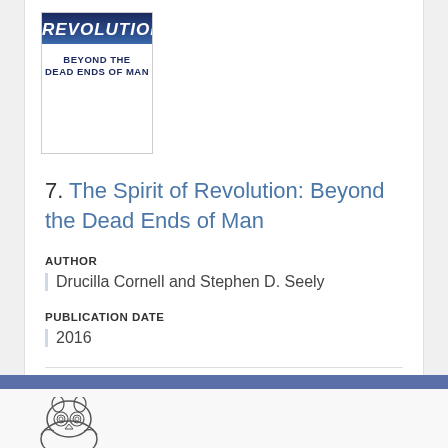[Figure (illustration): Book cover for 'The Spirit of Revolution: Beyond the Dead Ends of Man' with blue gradient background and white text]
7. The Spirit of Revolution: Beyond the Dead Ends of Man
AUTHOR
Drucilla Cornell and Stephen D. Seely
PUBLICATION DATE
2016
[Figure (logo): University press owl logo at bottom of page]